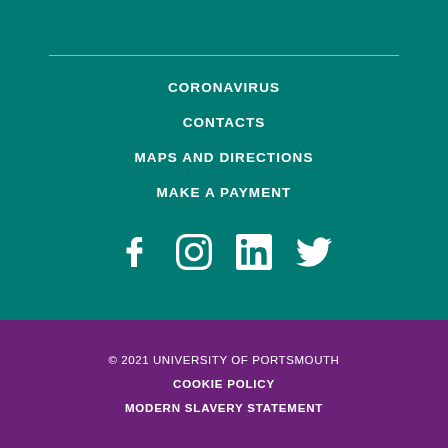CORONAVIRUS
CONTACTS
MAPS AND DIRECTIONS
MAKE A PAYMENT
[Figure (illustration): Social media icons: Facebook, Instagram, LinkedIn, Twitter]
© 2021 UNIVERSITY OF PORTSMOUTH
COOKIE POLICY
MODERN SLAVERY STATEMENT